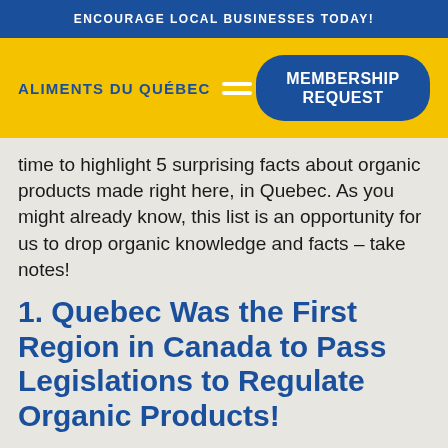ENCOURAGE LOCAL BUSINESSES TODAY!
ALIMENTS DU QUÉBEC
MEMBERSHIP REQUEST
time to highlight 5 surprising facts about organic products made right here, in Quebec. As you might already know, this list is an opportunity for us to drop organic knowledge and facts – take notes!
1. Quebec Was the First Region in Canada to Pass Legislations to Regulate Organic Products!
In fact, our love story with this production method